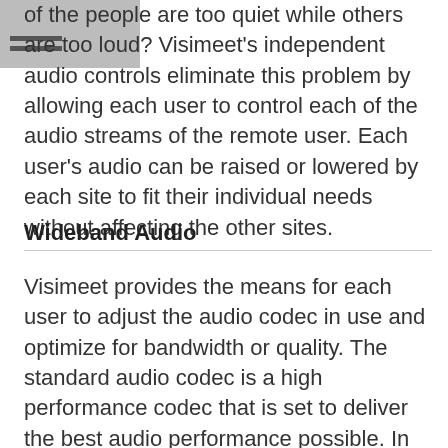of the people are too quiet while others are too loud? Visimeet's independent audio controls eliminate this problem by allowing each user to control each of the audio streams of the remote user. Each user's audio can be raised or lowered by each site to fit their individual needs without affecting the other sites.
Wideband Audio
Visimeet provides the means for each user to adjust the audio codec in use and optimize for bandwidth or quality. The standard audio codec is a high performance codec that is set to deliver the best audio performance possible. In some network restricted environments, the bandwidth needed to support this codec may not be available. Visimeet provides the option of a lower bandwidth codec for